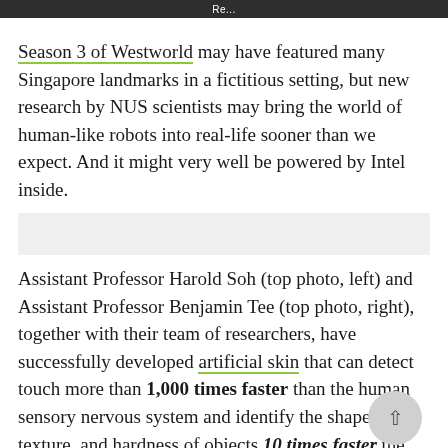Re...
Season 3 of Westworld may have featured many Singapore landmarks in a fictitious setting, but new research by NUS scientists may bring the world of human-like robots into real-life sooner than we expect. And it might very well be powered by Intel inside.
Assistant Professor Harold Soh (top photo, left) and Assistant Professor Benjamin Tee (top photo, right), together with their team of researchers, have successfully developed artificial skin that can detect touch more than 1,000 times faster than the human sensory nervous system and identify the shape, texture, and hardness of objects 10 times faster the...